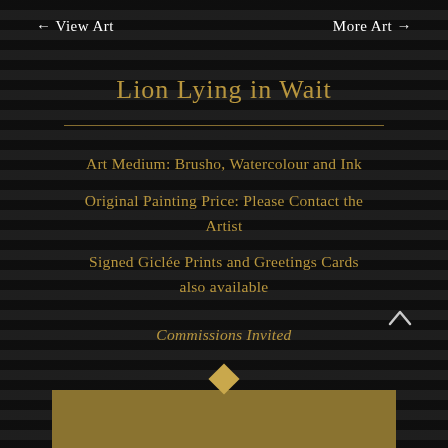← View Art    More Art →
Lion Lying in Wait
Art Medium: Brusho, Watercolour and Ink
Original Painting Price: Please Contact the Artist
Signed Giclée Prints and Greetings Cards also available
Commissions Invited